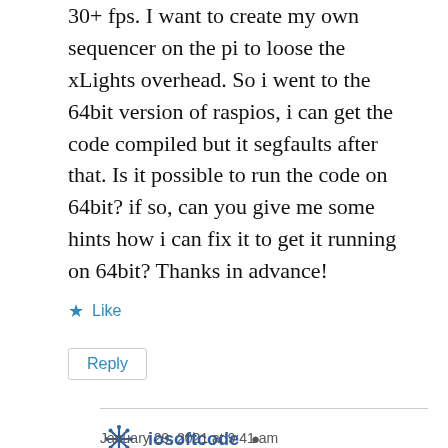30+ fps. I want to create my own sequencer on the pi to loose the xLights overhead. So i went to the 64bit version of raspios, i can get the code compiled but it segfaults after that. Is it possible to run the code on 64bit? if so, can you give me some hints how i can fix it to get it running on 64bit? Thanks in advance!
Like
Reply
iosoftcode
January 29, 2021 at 9:41 am